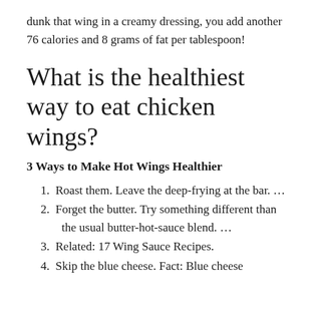dunk that wing in a creamy dressing, you add another 76 calories and 8 grams of fat per tablespoon!
What is the healthiest way to eat chicken wings?
3 Ways to Make Hot Wings Healthier
1. Roast them. Leave the deep-frying at the bar. …
2. Forget the butter. Try something different than the usual butter-hot-sauce blend. …
3. Related: 17 Wing Sauce Recipes.
4. Skip the blue cheese. Fact: Blue cheese